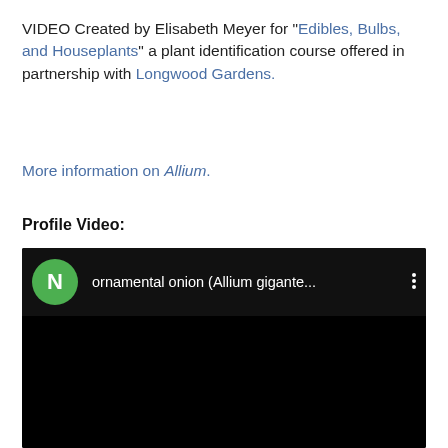VIDEO Created by Elisabeth Meyer for "Edibles, Bulbs, and Houseplants" a plant identification course offered in partnership with Longwood Gardens.
More information on Allium.
Profile Video:
[Figure (screenshot): Embedded video player with black background showing a YouTube-style interface. A green circular avatar with white letter N is shown on the left of the top bar, followed by the video title 'ornamental onion (Allium gigante...' and a three-dot menu icon on the right. The main video area is black.]